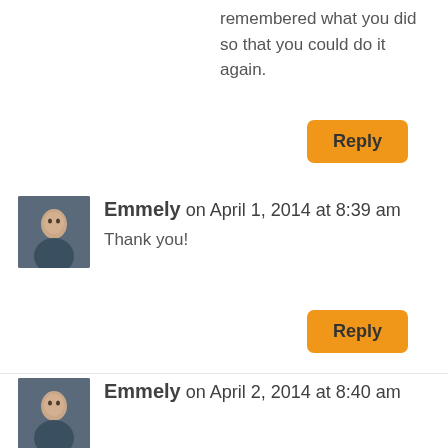remembered what you did so that you could do it again.
Reply
Emmely on April 1, 2014 at 8:39 am
Thank you!
Reply
ukcitycrafter on April 1, 2014 at 3:01 pm
It looks great, well done for persevering with it, I think I'd have given up!
Reply
Emmely on April 2, 2014 at 8:40 am